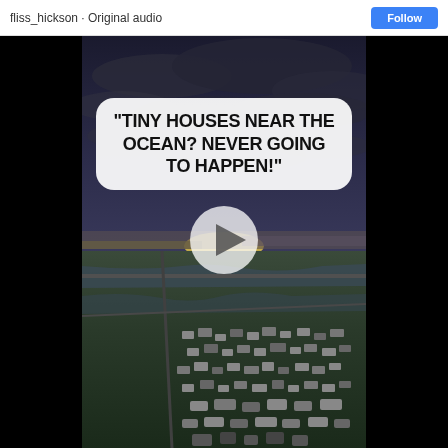fliss_hickson · Original audio
[Figure (screenshot): A TikTok-style video screenshot showing an aerial view of a coastal area with tiny houses/RVs near the ocean at sunset. A speech bubble overlay reads: "TINY HOUSES NEAR THE OCEAN? NEVER GOING TO HAPPEN!" A play button is visible in the center of the video.]